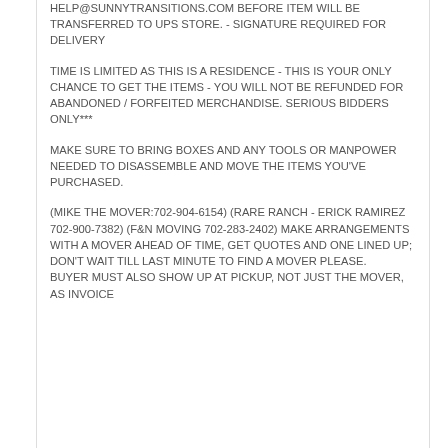HELP@SUNNYTRANSITIONS.COM BEFORE ITEM WILL BE TRANSFERRED TO UPS STORE. - SIGNATURE REQUIRED FOR DELIVERY
TIME IS LIMITED AS THIS IS A RESIDENCE - THIS IS YOUR ONLY CHANCE TO GET THE ITEMS - YOU WILL NOT BE REFUNDED FOR ABANDONED / FORFEITED MERCHANDISE. SERIOUS BIDDERS ONLY***
MAKE SURE TO BRING BOXES AND ANY TOOLS OR MANPOWER NEEDED TO DISASSEMBLE AND MOVE THE ITEMS YOU'VE PURCHASED.
(MIKE THE MOVER:702-904-6154) (RARE RANCH - ERICK RAMIREZ 702-900-7382) (F&N MOVING 702-283-2402) MAKE ARRANGEMENTS WITH A MOVER AHEAD OF TIME, GET QUOTES AND ONE LINED UP; DON'T WAIT TILL LAST MINUTE TO FIND A MOVER PLEASE. BUYER MUST ALSO SHOW UP AT PICKUP, NOT JUST THE MOVER, AS INVOICE